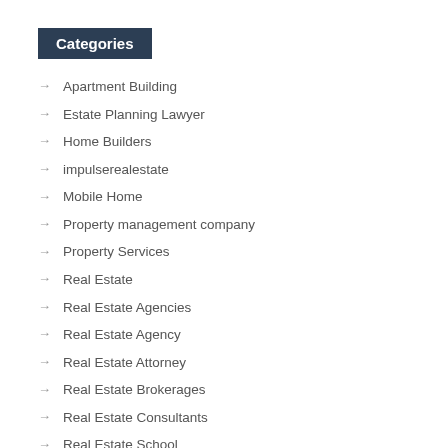Categories
Apartment Building
Estate Planning Lawyer
Home Builders
impulserealestate
Mobile Home
Property management company
Property Services
Real Estate
Real Estate Agencies
Real Estate Agency
Real Estate Attorney
Real Estate Brokerages
Real Estate Consultants
Real Estate School